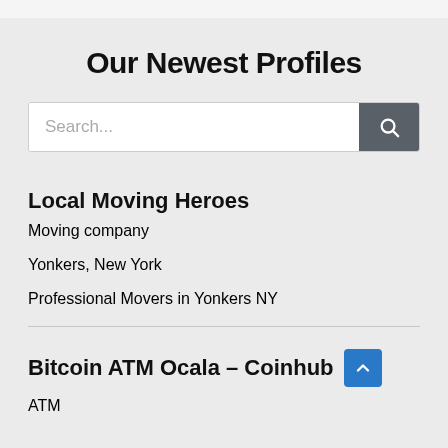Our Newest Profiles
Search...
Local Moving Heroes
Moving company
Yonkers, New York
Professional Movers in Yonkers NY
Bitcoin ATM Ocala – Coinhub
ATM